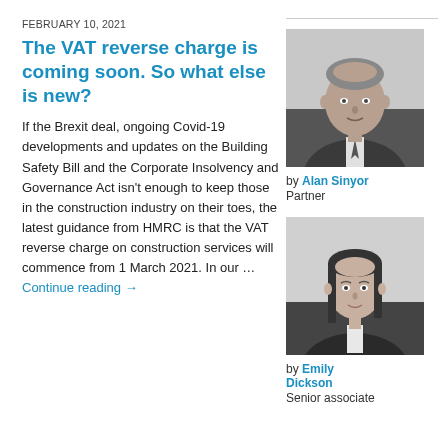FEBRUARY 10, 2021
The VAT reverse charge is coming soon. So what else is new?
If the Brexit deal, ongoing Covid-19 developments and updates on the Building Safety Bill and the Corporate Insolvency and Governance Act isn't enough to keep those in the construction industry on their toes, the latest guidance from HMRC is that the VAT reverse charge on construction services will commence from 1 March 2021. In our … Continue reading →
[Figure (photo): Black and white headshot of Alan Sinyor, a middle-aged man in a suit and tie]
by Alan Sinyor
Partner
[Figure (photo): Black and white headshot of Emily Dickson, a young woman with dark hair]
by Emily Dickson
Senior associate